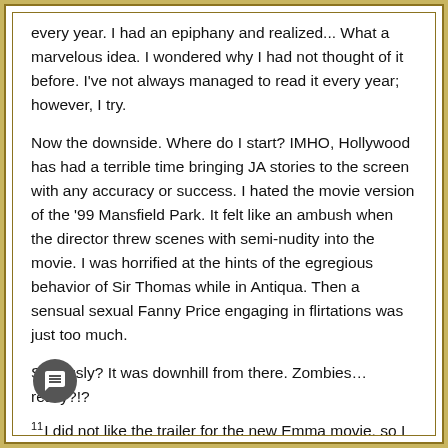every year. I had an epiphany and realized... What a marvelous idea. I wondered why I had not thought of it before. I've not always managed to read it every year; however, I try.
Now the downside. Where do I start? IMHO, Hollywood has had a terrible time bringing JA stories to the screen with any accuracy or success. I hated the movie version of the '99 Mansfield Park. It felt like an ambush when the director threw scenes with semi-nudity into the movie. I was horrified at the hints of the egregious behavior of Sir Thomas while in Antiqua. Then a sensual sexual Fanny Price engaging in flirtations was just too much.
Seriously? It was downhill from there. Zombies… really?!?
11 I did not like the trailer for the new Emma movie, so I didn't watch it. The trailer for Sanditon sent me into therapy and medication. I was about to be released from the unit when I happened to see the trailer for the